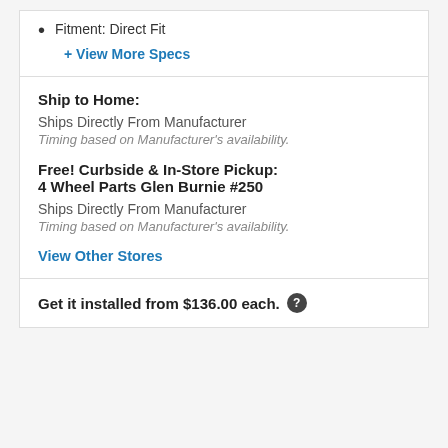Fitment: Direct Fit
+ View More Specs
Ship to Home:
Ships Directly From Manufacturer
Timing based on Manufacturer's availability.
Free! Curbside & In-Store Pickup:
4 Wheel Parts Glen Burnie #250
Ships Directly From Manufacturer
Timing based on Manufacturer's availability.
View Other Stores
Get it installed from $136.00 each.